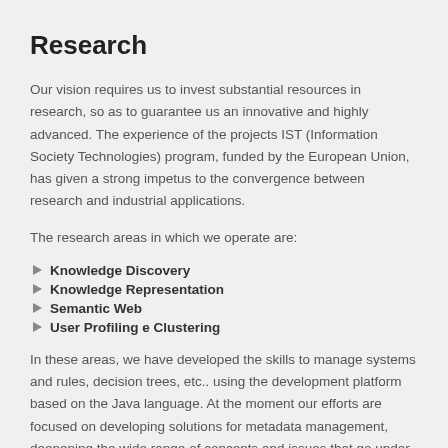Research
Our vision requires us to invest substantial resources in research, so as to guarantee us an innovative and highly advanced. The experience of the projects IST (Information Society Technologies) program, funded by the European Union, has given a strong impetus to the convergence between research and industrial applications.
The research areas in which we operate are:
Knowledge Discovery
Knowledge Representation
Semantic Web
User Profiling e Clustering
In these areas, we have developed the skills to manage systems and rules, decision trees, etc.. using the development platform based on the Java language. At the moment our efforts are focused on developing solutions for metadata management, deepening the wide range of concepts and issues that go under the